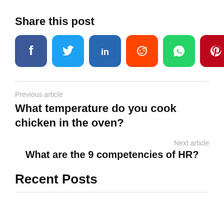Share this post
[Figure (infographic): Row of 7 social media share buttons: Facebook (dark blue), Twitter (light blue), LinkedIn (dark blue), Reddit (orange), WhatsApp (green), Pinterest (dark red), Telegram (blue)]
Previous article
What temperature do you cook chicken in the oven?
Next article
What are the 9 competencies of HR?
Recent Posts